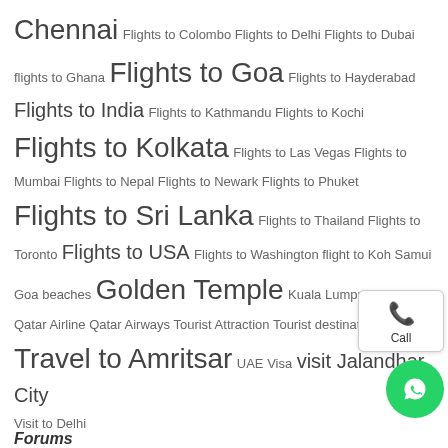Chennai Flights to Colombo Flights to Delhi Flights to Dubai flights to Ghana Flights to Goa Flights to Hayderabad Flights to India Flights to Kathmandu Flights to Kochi Flights to Kolkata Flights to Las Vegas Flights to Mumbai Flights to Nepal Flights to Newark Flights to Phuket Flights to Sri Lanka Flights to Thailand Flights to Toronto Flights to USA Flights to Washington flight to Koh Samui Goa beaches Golden Temple Kuala Lumpur Mumbai Qatar Airline Qatar Airways Tourist Attraction Tourist destination Travel to Amritsar UAE Visa visit Jalandhar City Visit to Delhi
Forums